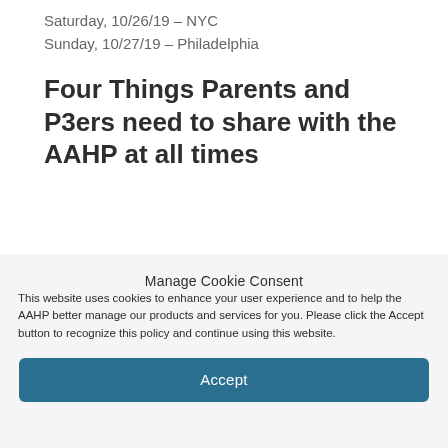Saturday, 10/26/19 – NYC
Sunday, 10/27/19 – Philadelphia
Four Things Parents and P3ers need to share with the AAHP at all times
Manage Cookie Consent
This website uses cookies to enhance your user experience and to help the AAHP better manage our products and services for you. Please click the Accept button to recognize this policy and continue using this website.
Accept